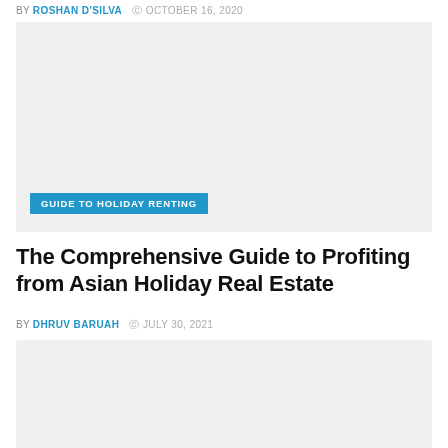BY ROSHAN D'SILVA  © OCTOBER 16, 2020
[Figure (photo): Large image placeholder with light gray background and a blue category tag reading GUIDE TO HOLIDAY RENTING]
The Comprehensive Guide to Profiting from Asian Holiday Real Estate
BY DHRUV BARUAH  © JULY 30, 2021
[Figure (photo): Image placeholder with light gray background at bottom of page]